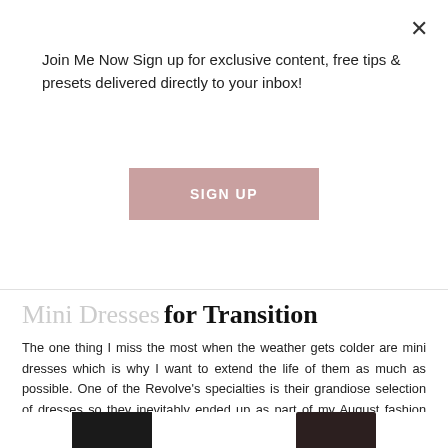Join Me Now Sign up for exclusive content, free tips & presets delivered directly to your inbox!
SIGN UP
Mini Dresses for Transition
The one thing I miss the most when the weather gets colder are mini dresses which is why I want to extend the life of them as much as possible. One of the Revolve’s specialties is their grandiose selection of dresses so they inevitably ended up as part of my August fashion favorites. They really have every type of style at a variety of different price points. When shopping in this category, I look for minimal or solid colored dresses that make layering easy. They do not have to be boring either. Revolve has a ton of mini dresses with elevated details like the Helena Mini Dress which has detached sleeves or the Cindy Mini Dress with an asymmetrical shoulder.
[Figure (photo): Two women wearing mini dresses, partially visible at bottom of page]